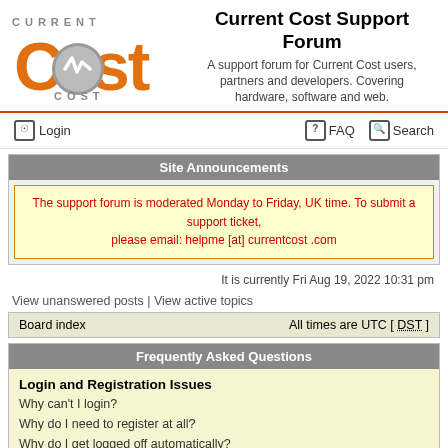[Figure (logo): Current Cost logo with orange 'C' and gray globe/lightning bolt design, text 'CURRENT COST' in spaced letters]
Current Cost Support Forum
A support forum for Current Cost users, partners and developers. Covering hardware, software and web.
Login
FAQ  Search
Site Announcements
The support forum is moderated Monday to Friday, UK time. To submit a support ticket, please email: helpme [at] currentcost .com
It is currently Fri Aug 19, 2022 10:31 pm
View unanswered posts | View active topics
Board index   All times are UTC [ DST ]
Frequently Asked Questions
Login and Registration Issues
Why can't I login?
Why do I need to register at all?
Why do I get logged off automatically?
How do I prevent my username appearing in the online user listings?
I've lost my password!
I registered but cannot login!
I registered in the past but cannot login any more?!